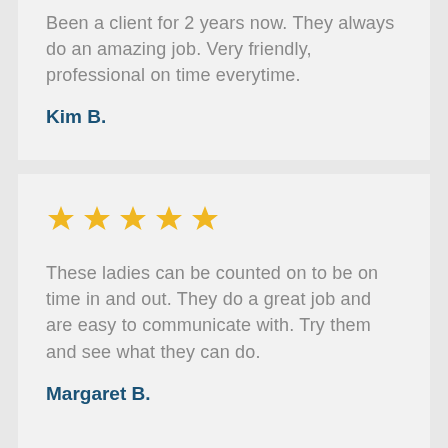Been a client for 2 years now. They always do an amazing job. Very friendly, professional on time everytime.
Kim B.
[Figure (other): Five gold stars rating icon]
These ladies can be counted on to be on time in and out. They do a great job and are easy to communicate with. Try them and see what they can do.
Margaret B.